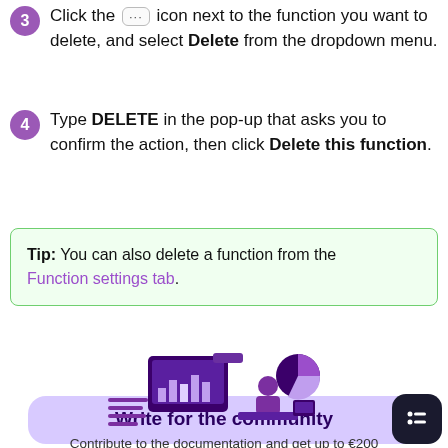Click the ··· icon next to the function you want to delete, and select Delete from the dropdown menu.
Type DELETE in the pop-up that asks you to confirm the action, then click Delete this function.
Tip: You can also delete a function from the Function settings tab.
[Figure (illustration): Illustration of a person working at a computer with charts and UI elements, purple theme]
Write for the community
Contribute to the documentation and get up to €200 discount on your Scaleway billing!
Discover now